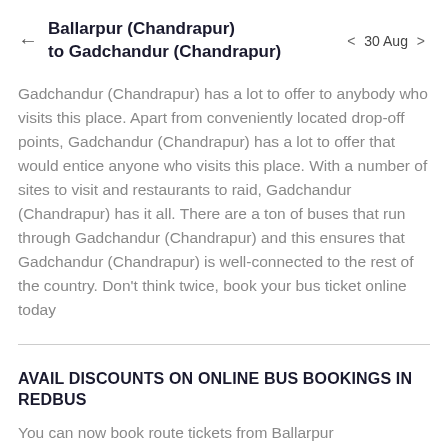Ballarpur (Chandrapur) to Gadchandur (Chandrapur) | ← | 30 Aug | ›
Gadchandur (Chandrapur) has a lot to offer to anybody who visits this place. Apart from conveniently located drop-off points, Gadchandur (Chandrapur) has a lot to offer that would entice anyone who visits this place. With a number of sites to visit and restaurants to raid, Gadchandur (Chandrapur) has it all. There are a ton of buses that run through Gadchandur (Chandrapur) and this ensures that Gadchandur (Chandrapur) is well-connected to the rest of the country. Don't think twice, book your bus ticket online today
AVAIL DISCOUNTS ON ONLINE BUS BOOKINGS IN REDBUS
You can now book route tickets from Ballarpur (Chandrapur) to Gadchandur (Chandrapur) at redBus.in. Apply time to time redBus offers on online bus ticket booking. Save some money and memories too!